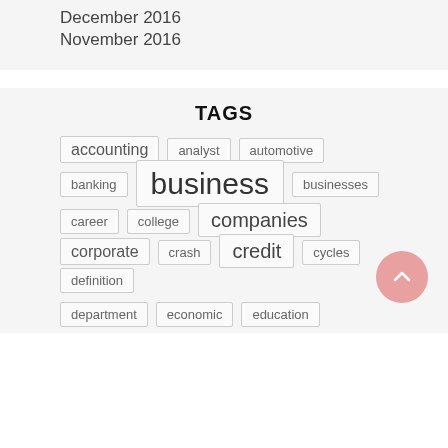December 2016
November 2016
TAGS
accounting
analyst
automotive
banking
business
businesses
career
college
companies
corporate
crash
credit
cycles
definition
department
economic
education